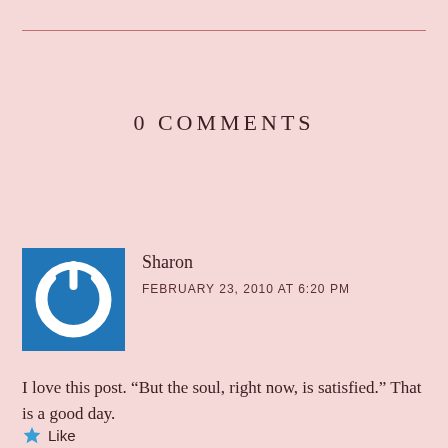0 COMMENTS
[Figure (illustration): Blue square avatar icon with white power button symbol]
Sharon
FEBRUARY 23, 2010 AT 6:20 PM
I love this post. “But the soul, right now, is satisfied.” That is a good day.
Like